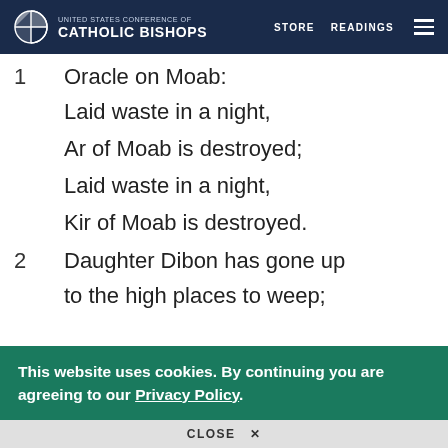UNITED STATES CONFERENCE OF CATHOLIC BISHOPS | STORE | READINGS
1 Oracle on Moab:
Laid waste in a night,
Ar of Moab is destroyed;
Laid waste in a night,
Kir of Moab is destroyed.
2 Daughter Dibon has gone up
to the high places to weep;
This website uses cookies. By continuing you are agreeing to our Privacy Policy.